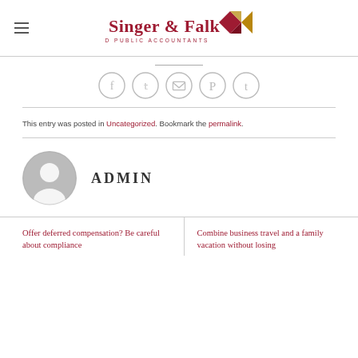[Figure (logo): Singer & Falk Certified Public Accountants logo with geometric diamond shape in red and gold]
[Figure (infographic): Row of five circular social sharing icons: Facebook, Twitter, Email, Pinterest, Tumblr]
This entry was posted in Uncategorized. Bookmark the permalink.
[Figure (illustration): Gray circular avatar/user profile image placeholder]
ADMIN
Offer deferred compensation? Be careful about compliance
Combine business travel and a family vacation without losing